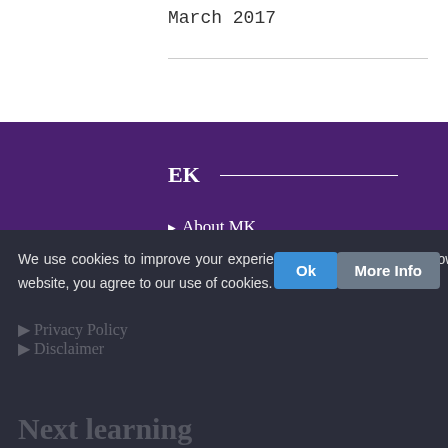March 2017
EK
About MK
About Me
Blogs
FREE Recipes
Contact Me
About
Cookie Policy
We use cookies to improve your experience on our website. By browsing this website, you agree to our use of cookies.